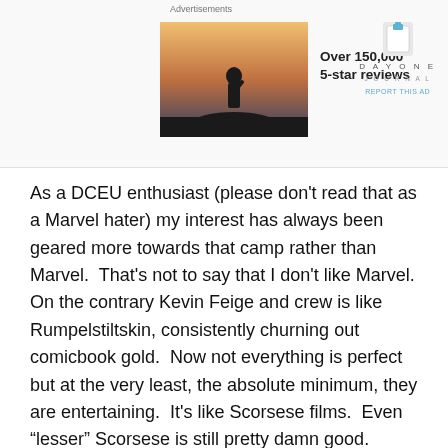[Figure (photo): Advertisement banner with a photo of a person silhouetted against a sunset, text 'Over 150,000 5-star reviews', and the Day One Journal logo with 'REPORT THIS AD' link.]
As a DCEU enthusiast (please don't read that as a Marvel hater) my interest has always been geared more towards that camp rather than Marvel.  That's not to say that I don't like Marvel.  On the contrary Kevin Feige and crew is like Rumpelstiltskin, consistently churning out comicbook gold.  Now not everything is perfect but at the very least, the absolute minimum, they are entertaining.  It's like Scorsese films.  Even “lesser” Scorsese is still pretty damn good.
The same cannot be said for the DCEU.
I introduced this article with The Simpsons video for a reason.  For the last twelve months, I've been like Homer